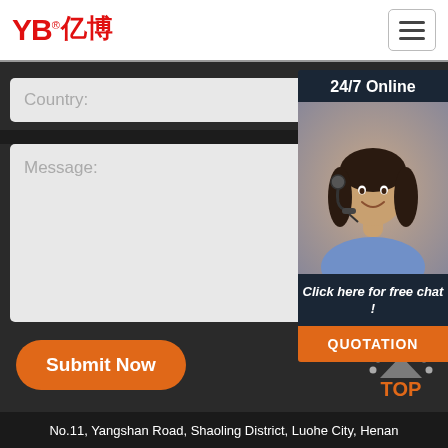[Figure (logo): YB亿博 company logo in red with registered trademark symbol]
Country:
Message:
Submit Now
24/7 Online
[Figure (photo): Customer service representative woman with headset smiling]
Click here for free chat !
QUOTATION
[Figure (other): TOP navigation button with dotted arc above and orange text]
No.11, Yangshan Road, Shaoling District, Luohe City, Henan